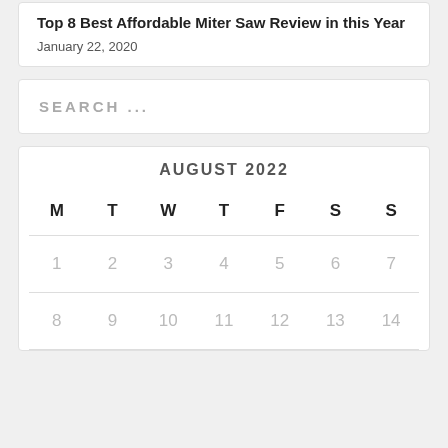Top 8 Best Affordable Miter Saw Review in this Year
January 22, 2020
SEARCH ...
AUGUST 2022
| M | T | W | T | F | S | S |
| --- | --- | --- | --- | --- | --- | --- |
| 1 | 2 | 3 | 4 | 5 | 6 | 7 |
| 8 | 9 | 10 | 11 | 12 | 13 | 14 |